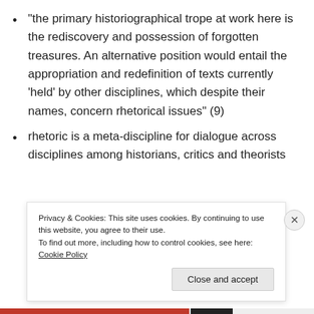“the primary historiographical trope at work here is the rediscovery and possession of forgotten treasures. An alternative position would entail the appropriation and redefinition of texts currently ‘held’ by other disciplines, which despite their names, concern rhetorical issues” (9)
rhetoric is a meta-discipline for dialogue across disciplines among historians, critics and theorists
Privacy & Cookies: This site uses cookies. By continuing to use this website, you agree to their use. To find out more, including how to control cookies, see here: Cookie Policy